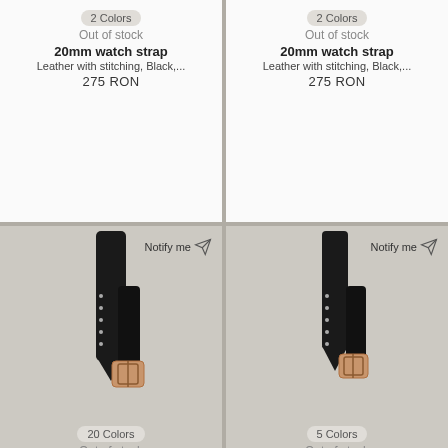2 Colors
Out of stock
20mm watch strap
Leather with stitching, Black,...
275 RON
2 Colors
Out of stock
20mm watch strap
Leather with stitching, Black,...
275 RON
[Figure (photo): Black leather 14mm watch strap with rose gold-tone buckle, shown from front at angle]
Notify me
20 Colors
Out of stock
14mm watch strap
Leather, Black, Rose gold-tone...
275 RON
[Figure (photo): Black leather 13mm watch strap with rose gold-tone buckle, shown from front at angle]
Notify me
5 Colors
Out of stock
13mm watch strap
Leather, Black, Rose gold-tone...
275 RON